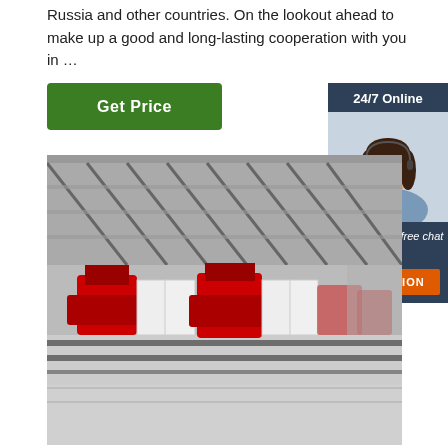Russia and other countries. On the lookout ahead to make up a good and long-lasting cooperation with you in …
[Figure (other): Green 'Get Price' button]
[Figure (other): Sidebar with '24/7 Online' header, customer service representative photo, 'Click here for free chat!' text, and orange 'QUOTATION' button]
[Figure (photo): Factory interior showing industrial machinery with red vehicles/equipment on tracks under a large steel roof structure]